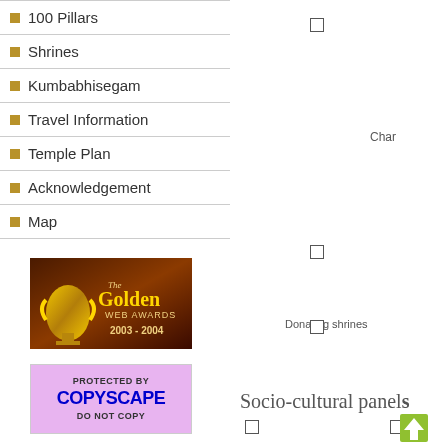100 Pillars
Shrines
Kumbabhisegam
Travel Information
Temple Plan
Acknowledgement
Map
Char
Donating shrines
[Figure (photo): The Golden Web Awards 2003-2004 badge with trophy image]
[Figure (logo): Protected by Copyscape - Do Not Copy badge]
Socio-cultural panels